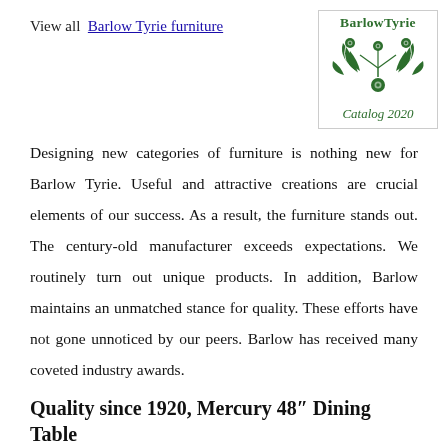View all Barlow Tyrie furniture
[Figure (logo): BarlowTyrie Catalog 2020 logo with green floral/leaf decorative illustration]
Designing new categories of furniture is nothing new for Barlow Tyrie. Useful and attractive creations are crucial elements of our success. As a result, the furniture stands out. The century-old manufacturer exceeds expectations. We routinely turn out unique products. In addition, Barlow maintains an unmatched stance for quality. These efforts have not gone unnoticed by our peers. Barlow has received many coveted industry awards.
Quality since 1920, Mercury 48″ Dining Table
Be Inspired. Barlow Tyrie manufactures an extensive range